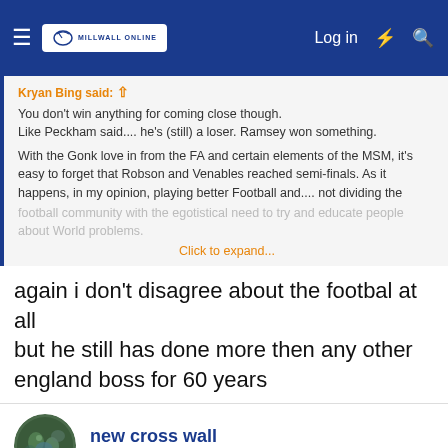Millwall Online — Log in
Kryan Bing said: ↑
You don't win anything for coming close though.
Like Peckham said.... he's (still) a loser. Ramsey won something.

With the Gonk love in from the FA and certain elements of the MSM, it's easy to forget that Robson and Venables reached semi-finals. As it happens, in my opinion, playing better Football and.... not dividing the football community with the egotistical need to try and educate people about World problems.
Click to expand...
again i don't disagree about the footbal at all
but he still has done more then any other england boss for 60 years
new cross wall
Well-known member
Jun 12, 2022
#40